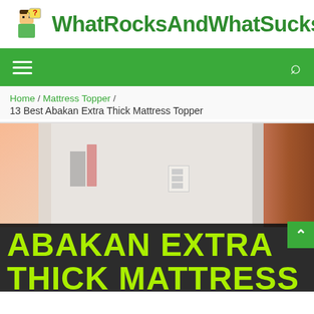WhatRocksAndWhatSucks
Home / Mattress Topper /
13 Best Abakan Extra Thick Mattress Topper
[Figure (photo): Bedroom interior with pink curtains, white walls, and a dark doorway on the right side]
ABAKAN EXTRA THICK MATTRESS